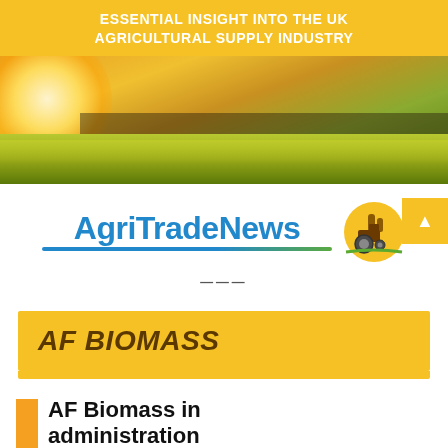ESSENTIAL INSIGHT INTO THE UK AGRICULTURAL SUPPLY INDUSTRY
[Figure (photo): Yellow rapeseed field with trees silhouetted against golden sunset sky]
AgriTradeNews
≡
AF BIOMASS
AF Biomass in administration